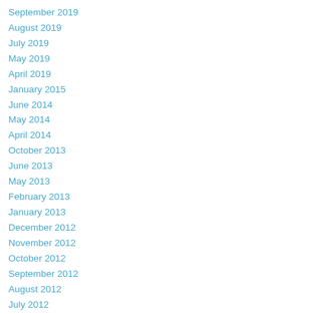September 2019
August 2019
July 2019
May 2019
April 2019
January 2015
June 2014
May 2014
April 2014
October 2013
June 2013
May 2013
February 2013
January 2013
December 2012
November 2012
October 2012
September 2012
August 2012
July 2012